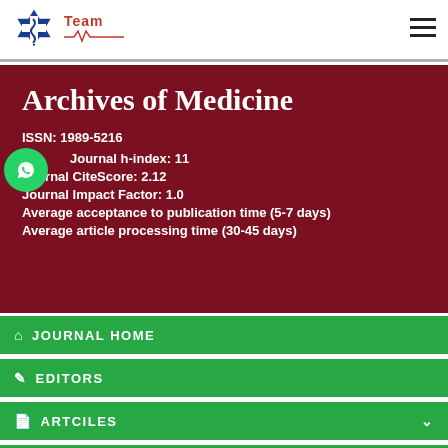Team — Archives of Medicine journal header with logo and hamburger menu
Archives of Medicine
ISSN: 1989-5216
Journal h-index: 11
Journal CiteScore: 2.12
Journal Impact Factor: 1.0
Average acceptance to publication time (5-7 days)
Average article processing time (30-45 days)
JOURNAL HOME
EDITORS
ARTCILES
AUTHORS
IN DETAIL